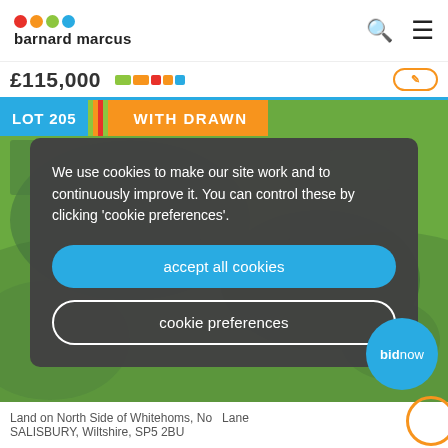barnard marcus
£115,000
[Figure (photo): Aerial photograph of land - LOT 205 marked as WITHDRAWN. Green fields and countryside visible from above.]
We use cookies to make our site work and to continuously improve it. You can control these by clicking 'cookie preferences'.
accept all cookies
cookie preferences
bidnow
Land on North Side of Whitehoms, No  Lane
SALISBURY, Wiltshire, SP5 2BU